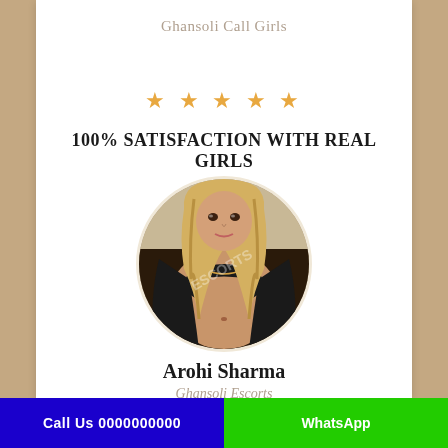Ghansoli Call Girls
★ ★ ★ ★ ★
100% SATISFACTION WITH REAL GIRLS
[Figure (photo): Circular profile photo of a woman with long blonde hair wearing a black outfit]
Arohi Sharma
Ghansoli Escorts
Call Us 0000000000 | WhatsApp